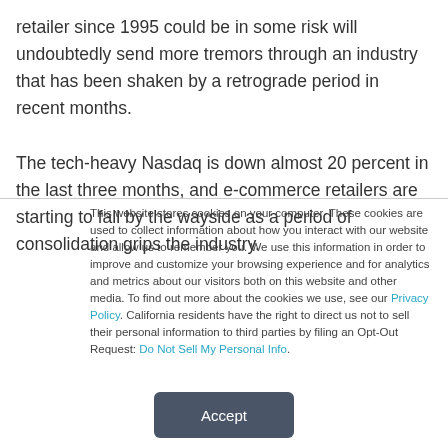retailer since 1995 could be in some risk will undoubtedly send more tremors through an industry that has been shaken by a retrograde period in recent months.

The tech-heavy Nasdaq is down almost 20 percent in the last three months, and e-commerce retailers are starting to fall by the wayside as a period of consolidation grips the industry.
This website stores cookies on your computer. These cookies are used to collect information about how you interact with our website and allow us to remember you. We use this information in order to improve and customize your browsing experience and for analytics and metrics about our visitors both on this website and other media. To find out more about the cookies we use, see our Privacy Policy. California residents have the right to direct us not to sell their personal information to third parties by filing an Opt-Out Request: Do Not Sell My Personal Info.
Accept